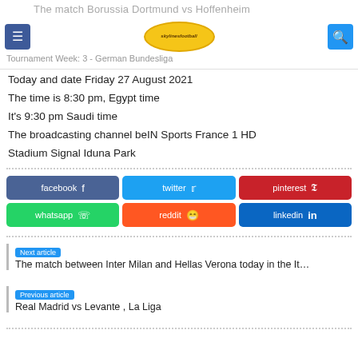The match Borussia Dortmund vs Hoffenheim
Tournament Week: 3 - German Bundesliga
Today and date Friday 27 August 2021
The time is 8:30 pm, Egypt time
It's 9:30 pm Saudi time
The broadcasting channel beIN Sports France 1 HD
Stadium Signal Iduna Park
[Figure (infographic): Social share buttons: facebook, twitter, pinterest, whatsapp, reddit, linkedin]
Next article
The match between Inter Milan and Hellas Verona today in the It…
Previous article
Real Madrid vs Levante , La Liga